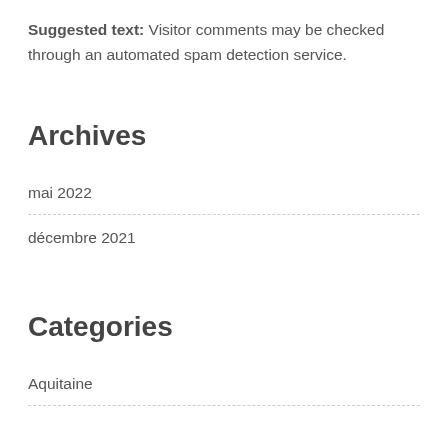Suggested text: Visitor comments may be checked through an automated spam detection service.
Archives
mai 2022
décembre 2021
Categories
Aquitaine